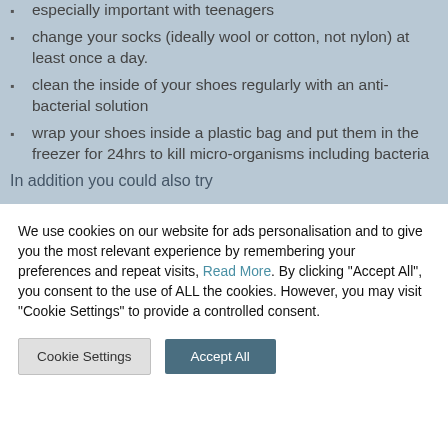especially important with teenagers
change your socks (ideally wool or cotton, not nylon) at least once a day.
clean the inside of your shoes regularly with an anti-bacterial solution
wrap your shoes inside a plastic bag and put them in the freezer for 24hrs to kill micro-organisms including bacteria
In addition you could also try
We use cookies on our website for ads personalisation and to give you the most relevant experience by remembering your preferences and repeat visits, Read More. By clicking "Accept All", you consent to the use of ALL the cookies. However, you may visit "Cookie Settings" to provide a controlled consent.